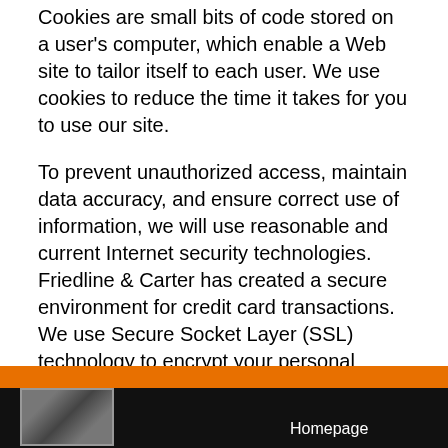Cookies are small bits of code stored on a user's computer, which enable a Web site to tailor itself to each user. We use cookies to reduce the time it takes for you to use our site.
To prevent unauthorized access, maintain data accuracy, and ensure correct use of information, we will use reasonable and current Internet security technologies. Friedline & Carter has created a secure environment for credit card transactions. We use Secure Socket Layer (SSL) technology to encrypt your personal information to prevent your information from being read during transmission over the Internet.
Please contact us if you have any questions or comments about our Privacy practices.
Homepage